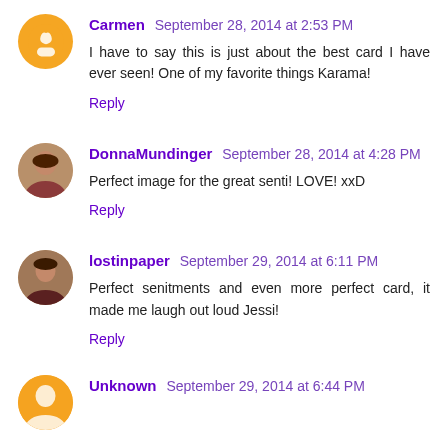Carmen  September 28, 2014 at 2:53 PM
I have to say this is just about the best card I have ever seen! One of my favorite things Karama!
Reply
DonnaMundinger  September 28, 2014 at 4:28 PM
Perfect image for the great senti! LOVE! xxD
Reply
lostinpaper  September 29, 2014 at 6:11 PM
Perfect senitments and even more perfect card, it made me laugh out loud Jessi!
Reply
Unknown  September 29, 2014 at 6:44 PM